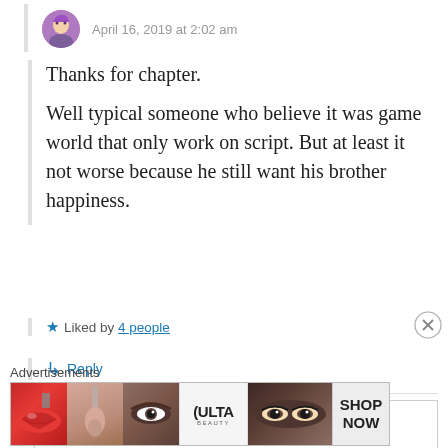April 16, 2019 at 2:02 am
Thanks for chapter.
Well typical someone who believe it was game world that only work on script. But at least it not worse because he still want his brother happiness.
★ Liked by 4 people
↳ Reply
Advertisements
[Figure (illustration): Ulta Beauty advertisement banner showing beauty/makeup images including lips, makeup brush, eye, Ulta logo, eyes with dramatic makeup, and a Shop Now button]